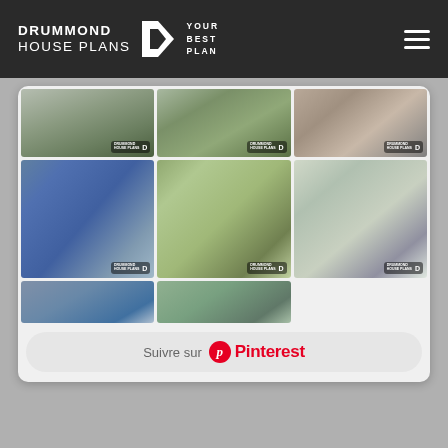[Figure (screenshot): Drummond House Plans website header with logo, tagline 'YOUR BEST PLAN', and hamburger menu icon on dark background]
[Figure (screenshot): Pinterest widget showing a grid of 8 Drummond House Plans house exterior photos and a 'Suivre sur Pinterest' follow button]